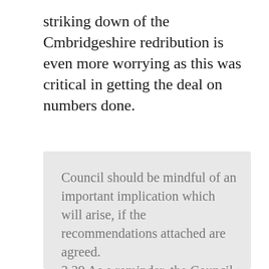striking down of the Cmbridgeshire redribution is even more worrying as this was critical in getting the deal on numbers done.
Council should be mindful of an important implication which will arise, if the recommendations attached are agreed. 3.29 As a reminder, the Council has struggled since June 2015 to be able to demonstrate a 'five year land supply' as required by national policy, with two appeal decisions (in 2015 and again in 2018) going against the Council. The overriding reason why the Council has been unable to demonstrate a five year land supply is not due to a lack of permissions given by this Council or a lack of allocations in our Local Plan (we have approximately 9